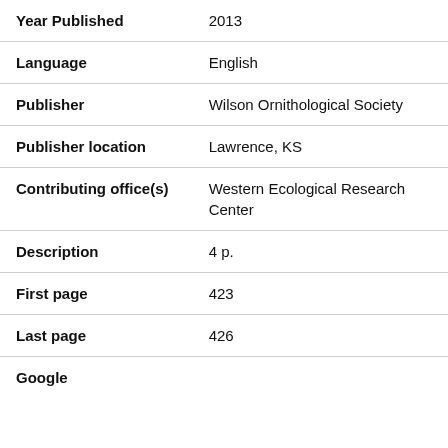| Field | Value |
| --- | --- |
| Year Published | 2013 |
| Language | English |
| Publisher | Wilson Ornithological Society |
| Publisher location | Lawrence, KS |
| Contributing office(s) | Western Ecological Research Center |
| Description | 4 p. |
| First page | 423 |
| Last page | 426 |
| Google |  |